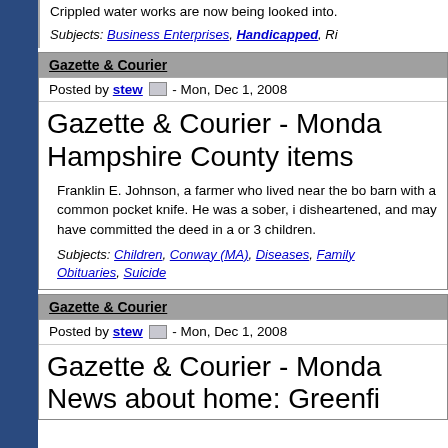Crippled water works are now being looked into.
Subjects: Business Enterprises, Handicapped, Ri...
Gazette & Courier
Posted by stew - Mon, Dec 1, 2008
Gazette & Courier - Monda... Hampshire County items
Franklin E. Johnson, a farmer who lived near the bo... barn with a common pocket knife. He was a sober, i... disheartened, and may have committed the deed in a... or 3 children.
Subjects: Children, Conway (MA), Diseases, Family... Obituaries, Suicide
Gazette & Courier
Posted by stew - Mon, Dec 1, 2008
Gazette & Courier - Monda... News about home: Greenfi...